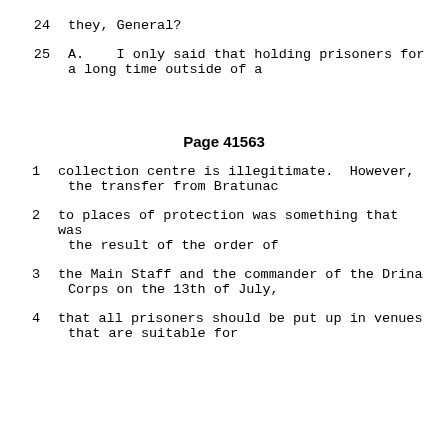24      they, General?
25      A.   I only said that holding prisoners for a long time outside of a
Page 41563
1      collection centre is illegitimate.  However, the transfer from Bratunac
2      to places of protection was something that was the result of the order of
3      the Main Staff and the commander of the Drina Corps on the 13th of July,
4      that all prisoners should be put up in venues that are suitable for